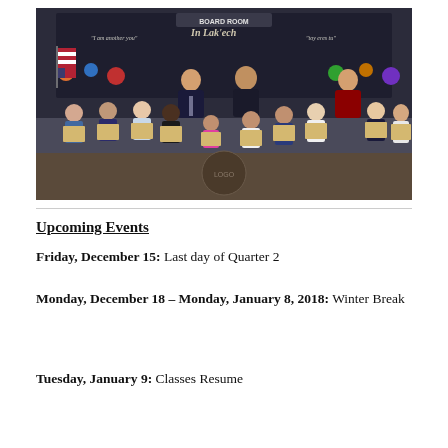[Figure (photo): Group photo of students holding framed certificates/awards in a Board Room, with two adults (men in suits) standing in the back row. A colorful mural with the text 'In Lak'ech' and phrases like 'I am another you' and 'tú eres mi tú' is visible on the wall behind them. An American flag is on the left side.]
Upcoming Events
Friday, December 15: Last day of Quarter 2
Monday, December 18 – Monday, January 8, 2018: Winter Break
Tuesday, January 9: Classes Resume